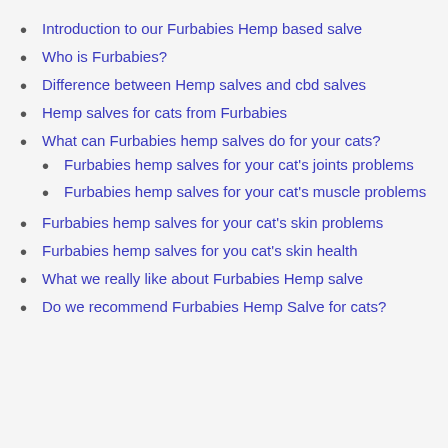Introduction to our Furbabies Hemp based salve
Who is Furbabies?
Difference between Hemp salves and cbd salves
Hemp salves for cats from Furbabies
What can Furbabies hemp salves do for your cats?
Furbabies hemp salves for your cat's joints problems
Furbabies hemp salves for your cat's muscle problems
Furbabies hemp salves for your cat's skin problems
Furbabies hemp salves for you cat's skin health
What we really like about Furbabies Hemp salve
Do we recommend Furbabies Hemp Salve for cats?